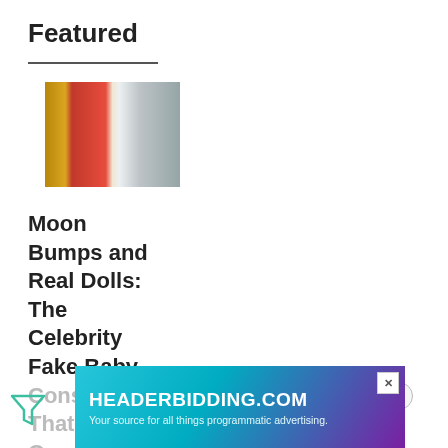Featured
[Figure (photo): Thumbnail photo of a couple on a red carpet, woman in red dress and man in white tuxedo]
Moon Bumps and Real Dolls: The Celebrity Fake Baby Conspiracy That Took Over Fandom